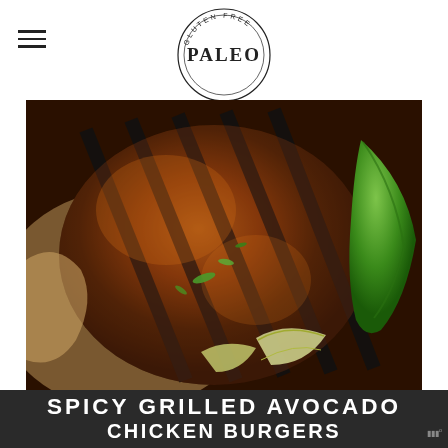[Figure (logo): Circular logo with text 'GLUTEN FREE PALEO' around the perimeter and 'PALEO' in bold serif font in the center]
[Figure (photo): Close-up photograph of a grilled spicy chicken burger patty with dark char marks, green herbs, and lime wedges on parchment paper, with a jalapeño pepper on the side]
JULY • 21 • 2017
SPICY GRILLED AVOCADO CHICKEN BURGERS